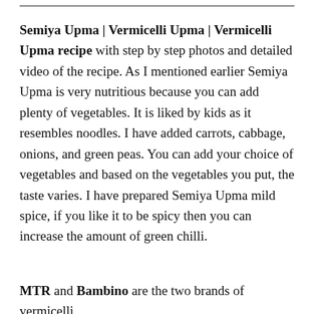Semiya Upma | Vermicelli Upma | Vermicelli Upma recipe with step by step photos and detailed video of the recipe. As I mentioned earlier Semiya Upma is very nutritious because you can add plenty of vegetables. It is liked by kids as it resembles noodles. I have added carrots, cabbage, onions, and green peas. You can add your choice of vegetables and based on the vegetables you put, the taste varies. I have prepared Semiya Upma mild spice, if you like it to be spicy then you can increase the amount of green chilli.
MTR and Bambino are the two brands of vermicelli